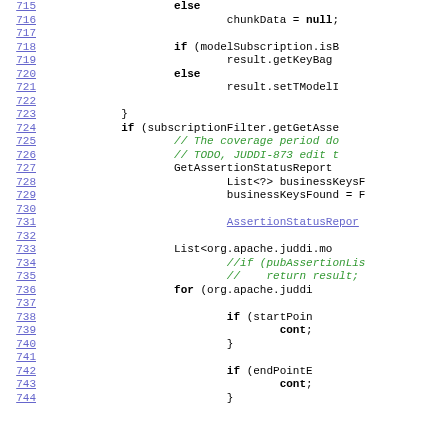[Figure (screenshot): Source code listing lines 715-744, showing Java code with line numbers on the left, keywords in bold, comments in green italic, and a hyperlinked identifier in blue underline.]